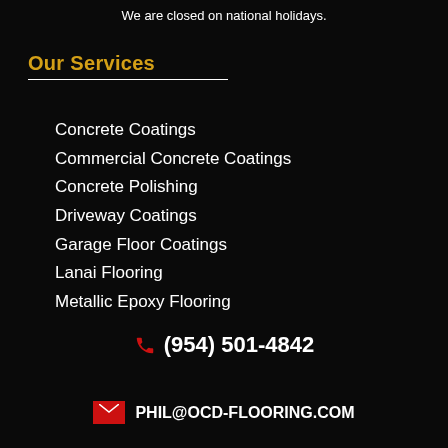We are closed on national holidays.
Our Services
Concrete Coatings
Commercial Concrete Coatings
Concrete Polishing
Driveway Coatings
Garage Floor Coatings
Lanai Flooring
Metallic Epoxy Flooring
(954) 501-4842
PHIL@OCD-FLOORING.COM